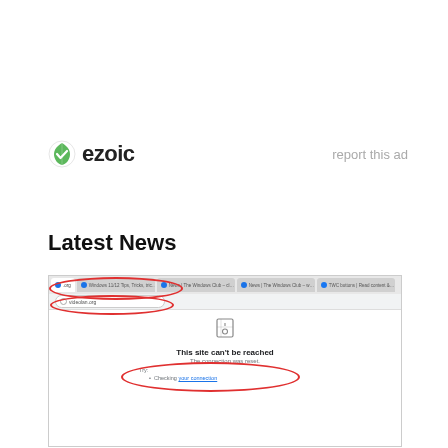[Figure (logo): Ezoic logo with green shield icon and bold 'ezoic' text, with 'report this ad' link to the right]
Latest News
[Figure (screenshot): Browser screenshot showing a 'This site can't be reached' error page for videolan.org with red ovals highlighting the URL bar and error message]